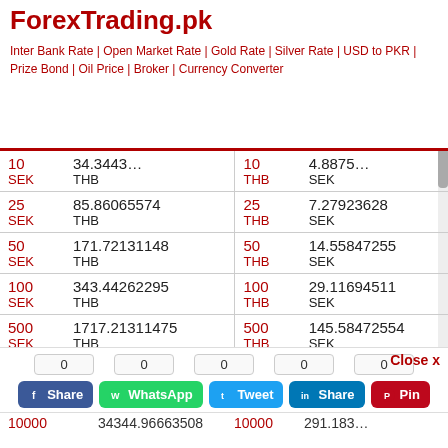ForexTrading.pk
Inter Bank Rate | Open Market Rate | Gold Rate | Silver Rate | USD to PKR | Prize Bond | Oil Price | Broker | Currency Converter
| Amount | Value | Amount | Value |
| --- | --- | --- | --- |
| 10 SEK | 34.3443... THB | 10 THB | 4.8875... SEK |
| 25 SEK | 85.86065574 THB | 25 THB | 7.27923628 SEK |
| 50 SEK | 171.72131148 THB | 50 THB | 14.55847255 SEK |
| 100 SEK | 343.44262295 THB | 100 THB | 29.11694511 SEK |
| 500 SEK | 1717.21311475 THB | 500 THB | 145.58472554 SEK |
| 1000 SEK | 3434.42622951 THB | 1000 THB | 291.16945107 SEK |
| 5000 SEK | 17172.13114754 THB | 5000 THB | 1455.847... SEK |
| 10000 SEK | 34344.96663508 THB | 10000 THB | 291.18337497... SEK |